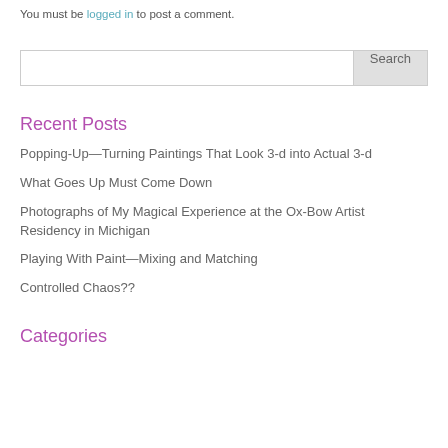You must be logged in to post a comment.
Recent Posts
Popping-Up—Turning Paintings That Look 3-d into Actual 3-d
What Goes Up Must Come Down
Photographs of My Magical Experience at the Ox-Bow Artist Residency in Michigan
Playing With Paint—Mixing and Matching
Controlled Chaos??
Categories